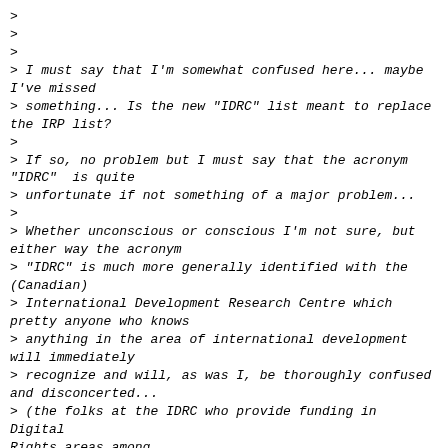>
>
>
> I must say that I'm somewhat confused here... maybe I've missed
> something... Is the new "IDRC" list meant to replace the IRP list?
>
> If so, no problem but I must say that the acronym "IDRC"  is quite
> unfortunate if not something of a major problem...
>
> Whether unconscious or conscious I'm not sure, but either way the acronym
> "IDRC" is much more generally identified with the (Canadian)
> International Development Research Centre which pretty anyone who knows
> anything in the area of international development will immediately
> recognize and will, as was I, be thoroughly confused and disconcerted...
> (the folks at the IDRC who provide funding in Digital Rights areas among
> many others might be rather upset as well about the possible confusion.
>
>
> Best,
>